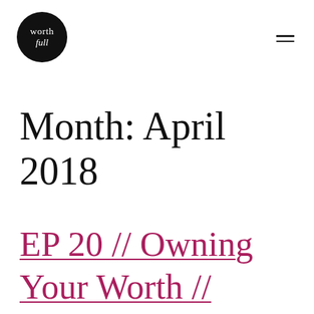worth full
Month: April 2018
EP 20 // Owning Your Worth // Christine Baird